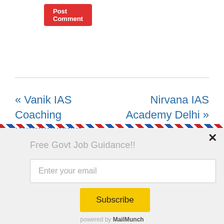Post Comment
« Vanik IAS Coaching Bhubaneswar Reviews – IAS Coaching in
Nirvana IAS Academy Delhi »
Free Govt Job Guidance!!
Enter your email
Subscribe
powered by MailMunch